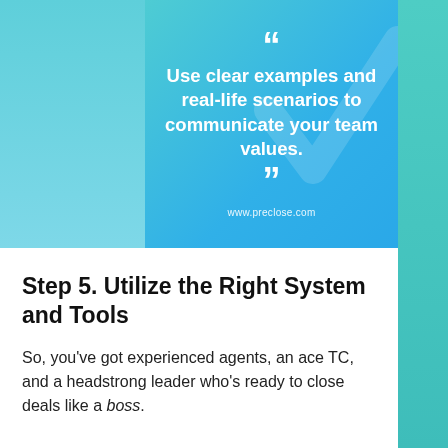[Figure (infographic): Gradient blue quote card with text: Use clear examples and real-life scenarios to communicate your team values. With closing quotation marks and website URL www.preclose.com]
Step 5. Utilize the Right System and Tools
So, you've got experienced agents, an ace TC, and a headstrong leader who's ready to close deals like a boss.